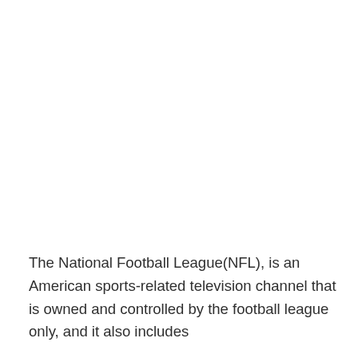The National Football League(NFL), is an American sports-related television channel that is owned and controlled by the football league only, and it also includes